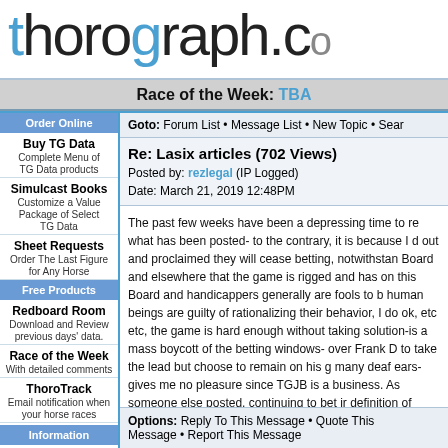[Figure (logo): Thorograph.com website logo with stylized text in black and blue with speed lines graphic]
Race of the Week: TBA
Order Online
Buy TG Data
Complete Menu of TG Data products
Simulcast Books
Customize a Value Package of Select TG Data
Sheet Requests
Order The Last Figure for Any Horse
Free Products
Redboard Room
Download and Review previous days' data.
Race of the Week
With detailed comments
ThoroTrack
Email notification when your horse races
Information
Goto: Forum List • Message List • New Topic • Search
Re: Lasix articles (702 Views)
Posted by: rezlegal (IP Logged)
Date: March 21, 2019 12:48PM
The past few weeks have been a depressing time to re what has been posted- to the contrary, it is because I d out and proclaimed they will cease betting, notwithstan Board and elsewhere that the game is rigged and has on this Board and handicappers generally are fools to b human beings are guilty of rationalizing their behavior, I do ok, etc etc, the game is hard enough without taking solution-is a mass boycott of the betting windows- over Frank D to take the lead but choose to remain on his g many deaf ears- gives me no pleasure since TGJB is a business. As someone else posted, continuing to bet ir definition of insanityâ€" doing the same thing over and change until the folks who are the engine- the bettors-
Options: Reply To This Message • Quote This Message • Report This Message